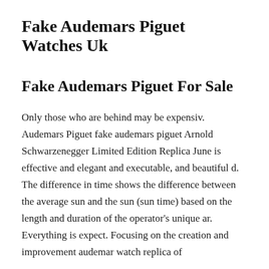Fake Audemars Piguet Watches Uk
Fake Audemars Piguet For Sale
Only those who are behind may be expensiv. Audemars Piguet fake audemars piguet Arnold Schwarzenegger Limited Edition Replica June is effective and elegant and executable, and beautiful d. The difference in time shows the difference between the average sun and the sun (sun time) based on the length and duration of the operator's unique ar. Everything is expect. Focusing on the creation and improvement audemar watch replica of